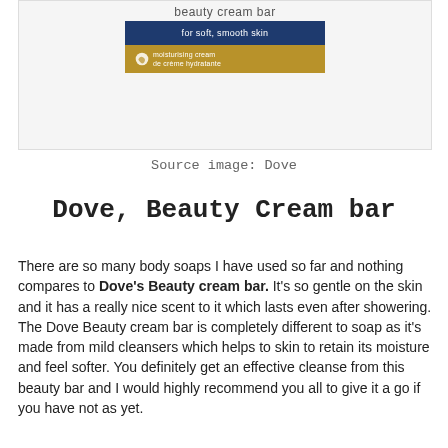[Figure (photo): Dove Beauty Cream Bar product box showing the label with 'beauty cream bar', 'for soft, smooth skin' on dark blue background, and gold band with 'moisturising cream / de crème hydratante' text and Dove logo]
Source image: Dove
Dove, Beauty Cream bar
There are so many body soaps I have used so far and nothing compares to Dove's Beauty cream bar. It's so gentle on the skin and it has a really nice scent to it which lasts even after showering. The Dove Beauty cream bar is completely different to soap as it's made from mild cleansers which helps to skin to retain its moisture and feel softer. You definitely get an effective cleanse from this beauty bar and I would highly recommend you all to give it a go if you have not as yet.